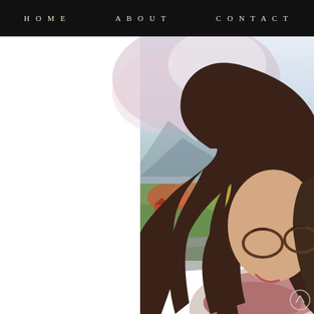HOME   ABOUT   CONTACT
[Figure (photo): A smiling young woman with long dark brown hair, wearing glasses, a light knit sweater and a pink/mauve infinity scarf. She is looking downward and smiling. The background shows an outdoor autumn scene with green grass, colorful foliage, mountains and a bright sky. The left portion of the image is white/overexposed. A small circular scroll-up icon is visible in the bottom right corner.]